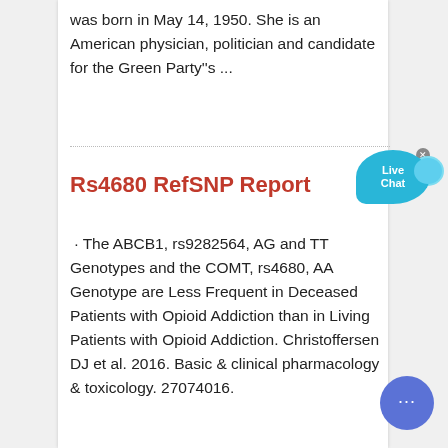was born in May 14, 1950. She is an American physician, politician and candidate for the Green Party"s ...
Rs4680 RefSNP Report
· The ABCB1, rs9282564, AG and TT Genotypes and the COMT, rs4680, AA Genotype are Less Frequent in Deceased Patients with Opioid Addiction than in Living Patients with Opioid Addiction. Christoffersen DJ et al. 2016. Basic & clinical pharmacology & toxicology. 27074016.